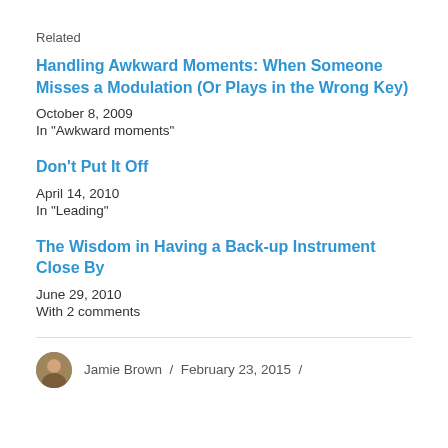Related
Handling Awkward Moments: When Someone Misses a Modulation (Or Plays in the Wrong Key)
October 8, 2009
In "Awkward moments"
Don't Put It Off
April 14, 2010
In "Leading"
The Wisdom in Having a Back-up Instrument Close By
June 29, 2010
With 2 comments
Jamie Brown / February 23, 2015 /